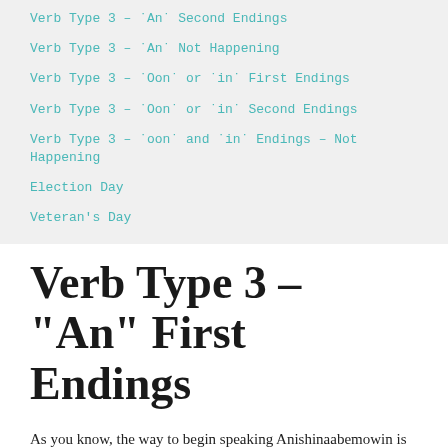Verb Type 3 – ˙An˙ Second Endings
Verb Type 3 – ˙An˙ Not Happening
Verb Type 3 – ˙Oon˙ or ˙in˙ First Endings
Verb Type 3 – ˙Oon˙ or ˙in˙ Second Endings
Verb Type 3 – ˙oon˙ and ˙in˙ Endings – Not Happening
Election Day
Veteran's Day
Verb Type 3 – "An" First Endings
As you know, the way to begin speaking Anishinaabemowin is to describe what is happening. There are only four types of increasingly complicated verbs and some simple rules about